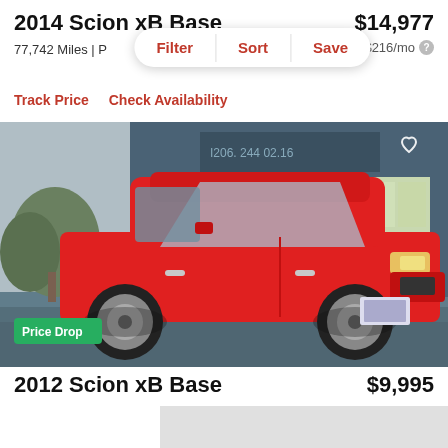2014 Scion xB Base
$14,977
77,742 Miles | P
est. $216/mo
Filter  Sort  Save
Track Price   Check Availability
[Figure (photo): Red 2014 Scion xB parked in front of a blue building. A 'Price Drop' green badge appears in the lower left and a heart icon in the upper right.]
2012 Scion xB Base
$9,995